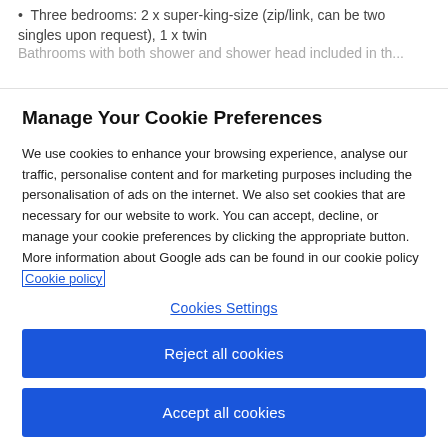Three bedrooms: 2 x super-king-size (zip/link, can be two singles upon request), 1 x twin
Bathrooms with both shower...
Manage Your Cookie Preferences
We use cookies to enhance your browsing experience, analyse our traffic, personalise content and for marketing purposes including the personalisation of ads on the internet. We also set cookies that are necessary for our website to work. You can accept, decline, or manage your cookie preferences by clicking the appropriate button. More information about Google ads can be found in our cookie policy Cookie policy
Cookies Settings
Reject all cookies
Accept all cookies